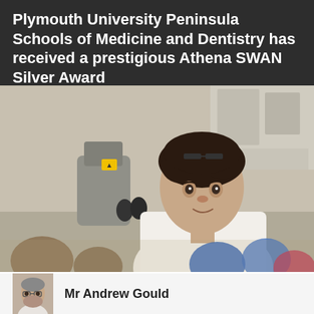Plymouth University Peninsula Schools of Medicine and Dentistry has received a prestigious Athena SWAN Silver Award
[Figure (photo): A young woman in a white lab coat looking at a microscope in a laboratory setting, with various lab equipment and colorful bottles visible in the foreground and background.]
Mr Andrew Gould